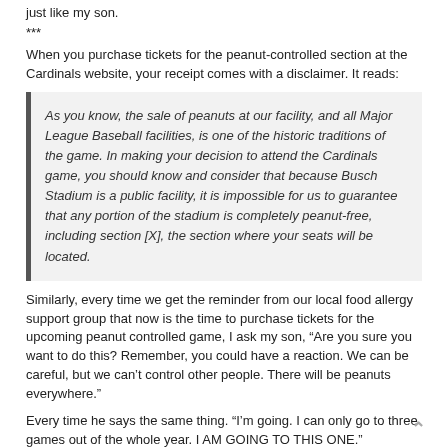just like my son.
***
When you purchase tickets for the peanut-controlled section at the Cardinals website, your receipt comes with a disclaimer. It reads:
As you know, the sale of peanuts at our facility, and all Major League Baseball facilities, is one of the historic traditions of the game. In making your decision to attend the Cardinals game, you should know and consider that because Busch Stadium is a public facility, it is impossible for us to guarantee that any portion of the stadium is completely peanut-free, including section [X], the section where your seats will be located.
Similarly, every time we get the reminder from our local food allergy support group that now is the time to purchase tickets for the upcoming peanut controlled game, I ask my son, “Are you sure you want to do this? Remember, you could have a reaction. We can be careful, but we can’t control other people. There will be peanuts everywhere.”
Every time he says the same thing. “I’m going. I can only go to three games out of the whole year. I AM GOING TO THIS ONE.”
So, he is.